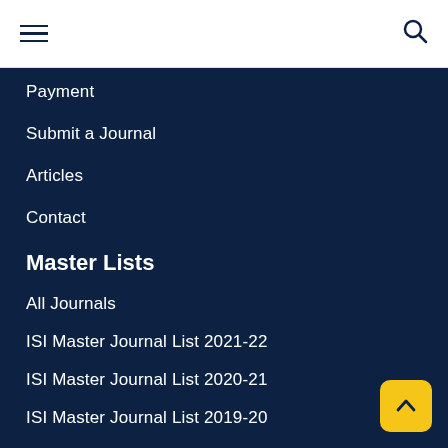☰  🔍
Payment
Submit a Journal
Articles
Contact
Master Lists
All Journals
ISI Master Journal List 2021-22
ISI Master Journal List 2020-21
ISI Master Journal List 2019-20